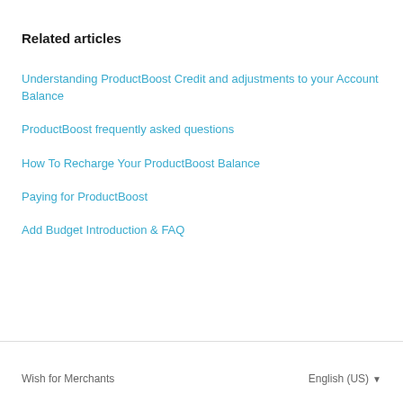Related articles
Understanding ProductBoost Credit and adjustments to your Account Balance
ProductBoost frequently asked questions
How To Recharge Your ProductBoost Balance
Paying for ProductBoost
Add Budget Introduction & FAQ
Wish for Merchants    English (US)